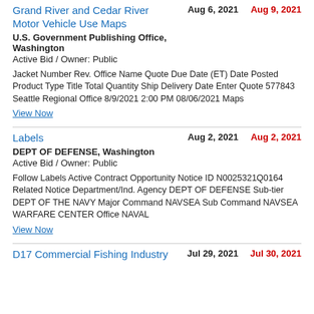Grand River and Cedar River Motor Vehicle Use Maps
Aug 6, 2021   Aug 9, 2021
U.S. Government Publishing Office, Washington
Active Bid / Owner: Public
Jacket Number Rev. Office Name Quote Due Date (ET) Date Posted Product Type Title Total Quantity Ship Delivery Date Enter Quote 577843 Seattle Regional Office 8/9/2021 2:00 PM 08/06/2021 Maps
View Now
Labels
Aug 2, 2021   Aug 2, 2021
DEPT OF DEFENSE, Washington
Active Bid / Owner: Public
Follow Labels Active Contract Opportunity Notice ID N0025321Q0164 Related Notice Department/Ind. Agency DEPT OF DEFENSE Sub-tier DEPT OF THE NAVY Major Command NAVSEA Sub Command NAVSEA WARFARE CENTER Office NAVAL
View Now
D17 Commercial Fishing Industry
Jul 29, 2021   Jul 30, 2021